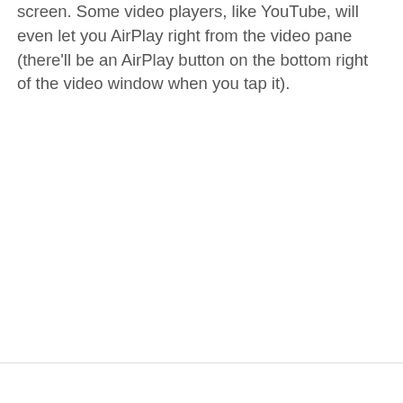screen. Some video players, like YouTube, will even let you AirPlay right from the video pane (there'll be an AirPlay button on the bottom right of the video window when you tap it).